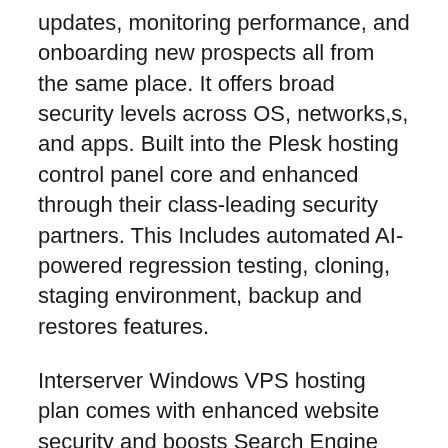updates, monitoring performance, and onboarding new prospects all from the same place. It offers broad security levels across OS, networks,s, and apps. Built into the Plesk hosting control panel core and enhanced through their class-leading security partners. This Includes automated AI-powered regression testing, cloning, staging environment, backup and restores features.
Interserver Windows VPS hosting plan comes with enhanced website security and boosts Search Engine rankings through their free Let's Encrypt SSL certificate available in the one-click installer in your Plesk panel. It has a 99.9% uptime guarantee and their in-house expert team is always ready to assist you 24/7/365. All you need to reach us out via ticket system, phone call, or live chat options.
[Figure (illustration): Purple circular scroll-to-top button with white upward arrow]